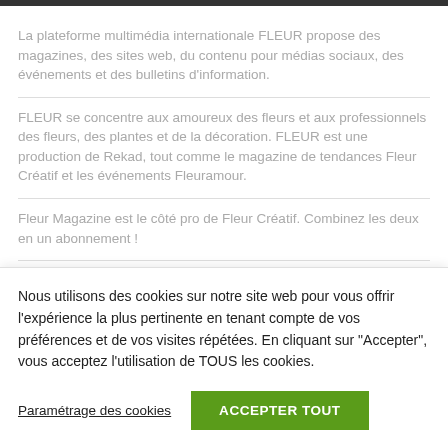La plateforme multimédia internationale FLEUR propose des magazines, des sites web, du contenu pour médias sociaux, des événements et des bulletins d'information.
FLEUR se concentre aux amoureux des fleurs et aux professionnels des fleurs, des plantes et de la décoration. FLEUR est une production de Rekad, tout comme le magazine de tendances Fleur Créatif et les événements Fleuramour.
Fleur Magazine est le côté pro de Fleur Créatif. Combinez les deux en un abonnement !
Nous utilisons des cookies sur notre site web pour vous offrir l'expérience la plus pertinente en tenant compte de vos préférences et de vos visites répétées. En cliquant sur "Accepter", vous acceptez l'utilisation de TOUS les cookies.
Paramétrage des cookies
ACCEPTER TOUT